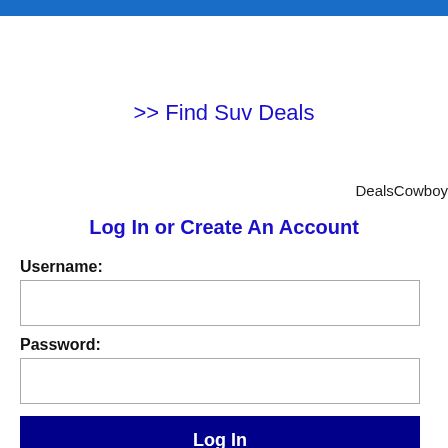[Figure (other): Blue navigation bar at top of page]
>> Find Suv Deals
DealsCowboy
Log In or Create An Account
Username:
Password:
Log In